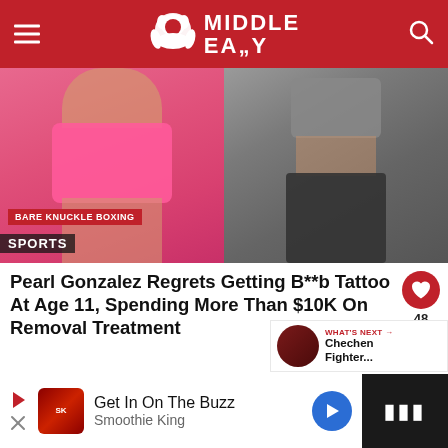Middle Easy
[Figure (photo): Two-panel hero image: left panel shows a woman in a pink sports bra with 'BARE KNUCKLE BOXING' badge and 'SPORTS' label overlay; right panel shows a woman in a grey sports bra and dark leggings in a gym setting.]
Pearl Gonzalez Regrets Getting B**b Tattoo At Age 11, Spending More Than $10K On Removal Treatment
WHAT'S NEXT → Chechen Fighter...
Get In On The Buzz
Smoothie King